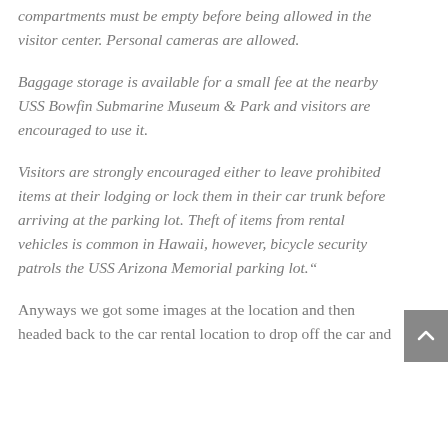compartments must be empty before being allowed in the visitor center. Personal cameras are allowed.
Baggage storage is available for a small fee at the nearby USS Bowfin Submarine Museum & Park and visitors are encouraged to use it.
Visitors are strongly encouraged either to leave prohibited items at their lodging or lock them in their car trunk before arriving at the parking lot. Theft of items from rental vehicles is common in Hawaii, however, bicycle security patrols the USS Arizona Memorial parking lot."
Anyways we got some images at the location and then headed back to the car rental location to drop off the car and